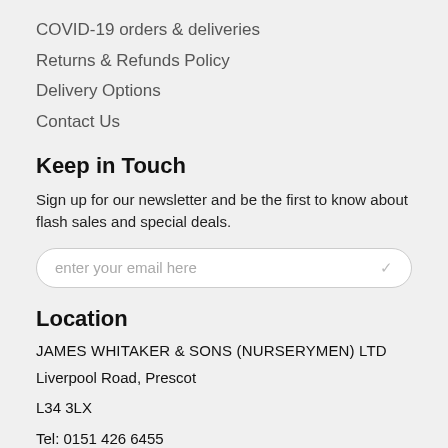COVID-19 orders & deliveries
Returns & Refunds Policy
Delivery Options
Contact Us
Keep in Touch
Sign up for our newsletter and be the first to know about flash sales and special deals.
enter your email here
Location
JAMES WHITAKER & SONS (NURSERYMEN) LTD
Liverpool Road, Prescot
L34 3LX
Tel: 0151 426 6455